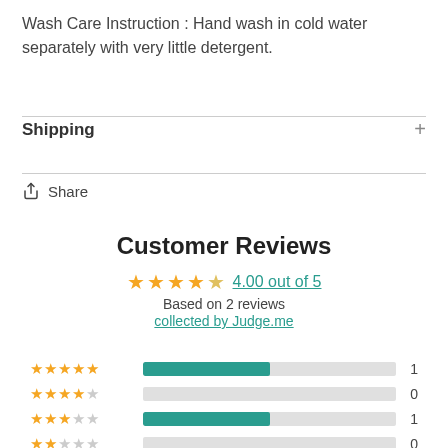Wash Care Instruction : Hand wash in cold water separately with very little detergent.
Shipping
Share
Customer Reviews
4.00 out of 5
Based on 2 reviews
collected by Judge.me
[Figure (infographic): Star rating bars: 5 stars=1, 4 stars=0, 3 stars=1, 2 stars=0, 1 star=0]